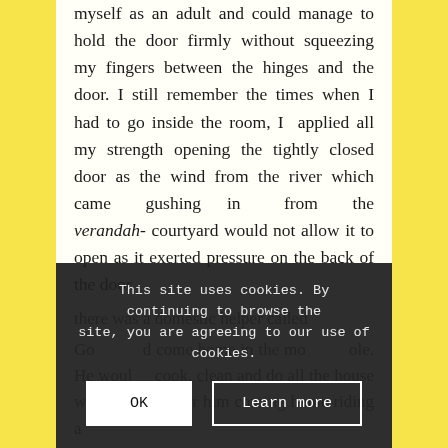myself as an adult and could manage to hold the door firmly without squeezing my fingers between the hinges and the door. I still remember the times when I had to go inside the room, I applied all my strength opening the tightly closed door as the wind from the river which came gushing in from the verandah- courtyard would not allow it to open as it exerted pressure on the back of the door. there was a domestic helper called Go[...] ould come home in the mo[...] ole. He woul[d] cook, clean and do all the house work. I remember him coming home riding a
This site uses cookies. By continuing to browse the site, you are agreeing to our use of cookies.